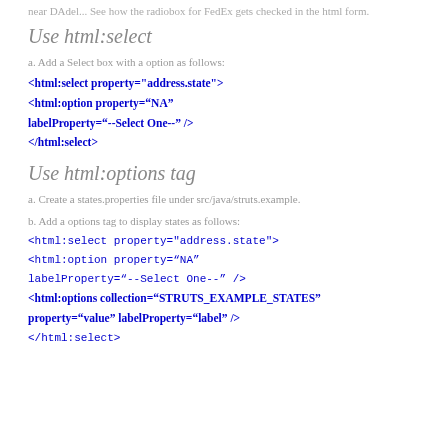near DAdel... See how the radiobox for FedEx gets checked in the html form.
Use html:select
a. Add a Select box with a option as follows:
<html:select property="address.state">
<html:option property=“NA”
labelProperty=“--Select One--” />
</html:select>
Use html:options tag
a. Create a states.properties file under src/java/struts.example.
b. Add a options tag to display states as follows:
<html:select property="address.state">
<html:option property=“NA”
labelProperty=“--Select One--” />
<html:options collection=“STRUTS_EXAMPLE_STATES”
property=“value” labelProperty=“label” />
</html:select>